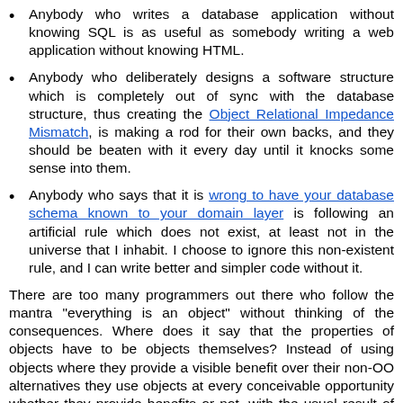Anybody who writes a database application without knowing SQL is as useful as somebody writing a web application without knowing HTML.
Anybody who deliberately designs a software structure which is completely out of sync with the database structure, thus creating the Object Relational Impedance Mismatch, is making a rod for their own backs, and they should be beaten with it every day until it knocks some sense into them.
Anybody who says that it is wrong to have your database schema known to your domain layer is following an artificial rule which does not exist, at least not in the universe that I inhabit. I choose to ignore this non-existent rule, and I can write better and simpler code without it.
There are too many programmers out there who follow the mantra "everything is an object" without thinking of the consequences. Where does it say that the properties of objects have to be objects themselves? Instead of using objects where they provide a visible benefit over their non-OO alternatives they use objects at every conceivable opportunity whether they provide benefits or not, with the usual result of "NOT". Anybody with an ounce of intelligence